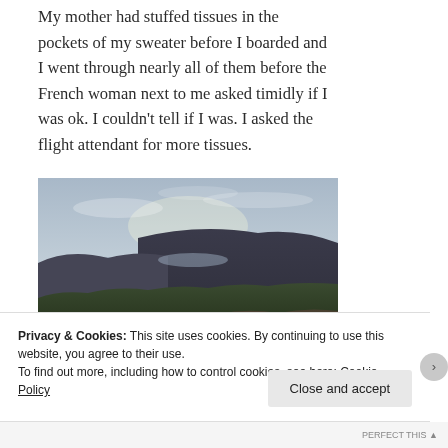My mother had stuffed tissues in the pockets of my sweater before I boarded and I went through nearly all of them before the French woman next to me asked timidly if I was ok. I couldn't tell if I was. I asked the flight attendant for more tissues.
[Figure (photo): Outdoor landscape photo showing a hillside with dry brush and shrubs in the foreground, rolling hills covered in vegetation in the middle ground, and a hazy valley and sky in the background.]
Privacy & Cookies: This site uses cookies. By continuing to use this website, you agree to their use.
To find out more, including how to control cookies, see here: Cookie Policy